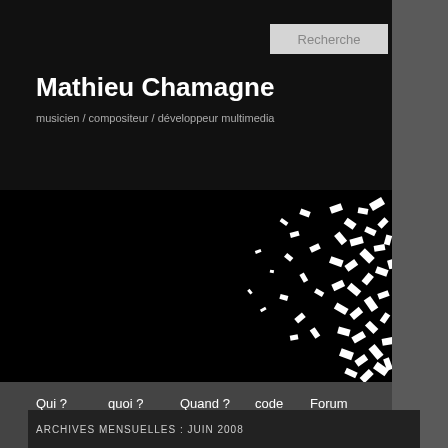Recherche
Mathieu Chamagne
musicien / compositeur / développeur multimedia
[Figure (illustration): Black background with scattered white rectangular confetti/particles clustered toward the right side]
Qui ?
quoi ?
Quand ?
code
Forum
médias
ARCHIVES MENSUELLES : JUIN 2008